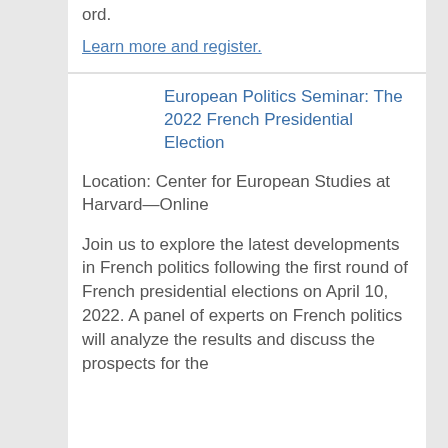ord.
Learn more and register.
European Politics Seminar: The 2022 French Presidential Election
Location: Center for European Studies at Harvard—Online
Join us to explore the latest developments in French politics following the first round of French presidential elections on April 10, 2022. A panel of experts on French politics will analyze the results and discuss the prospects for the